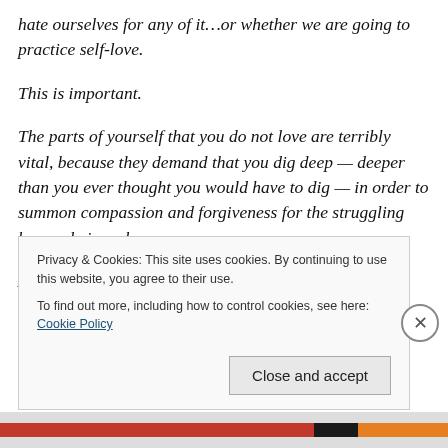hate ourselves for any of it…or whether we are going to practice self-love.
This is important.
The parts of yourself that you do not love are terribly vital, because they demand that you dig deep — deeper than you ever thought you would have to dig — in order to summon compassion and forgiveness for the struggling human being whom you are.
And until you learn to treat the struggling human being
Privacy & Cookies: This site uses cookies. By continuing to use this website, you agree to their use.
To find out more, including how to control cookies, see here: Cookie Policy